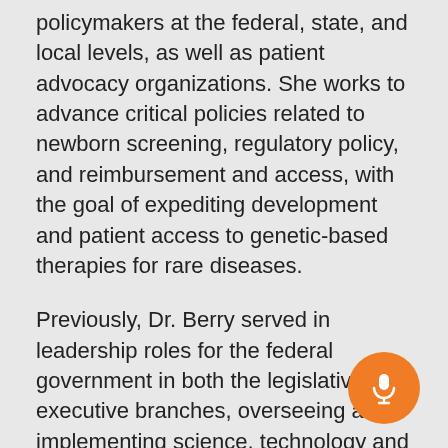policymakers at the federal, state, and local levels, as well as patient advocacy organizations. She works to advance critical policies related to newborn screening, regulatory policy, and reimbursement and access, with the goal of expediting development and patient access to genetic-based therapies for rare diseases.
Previously, Dr. Berry served in leadership roles for the federal government in both the legislative and executive branches, overseeing and implementing science, technology and public health activities. She served as a Subcommittee Staff Director and Senior Professional Staff Member for the U.S. House of Representatives Committee on Homeland Security and as Chief Scientist and Senior Biodefense Advisor at the Department of Homeland Security